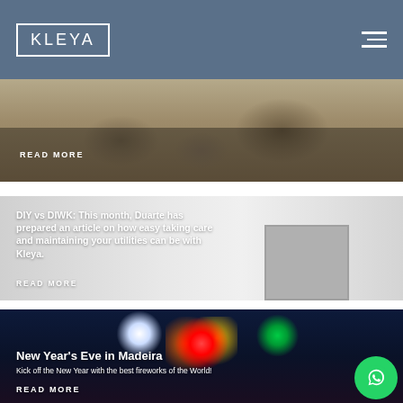KLEYA
[Figure (photo): Rocky/arid landscape with large boulders, partially visible at top of page]
READ MORE
[Figure (photo): White interior room with paneled doors/walls]
DIY vs DIWK: This month, Duarte has prepared an article on how easy taking care and maintaining your utilities can be with Kleya.
READ MORE
[Figure (photo): Night sky fireworks display over water, colorful bursts of red, white, green and gold]
New Year's Eve in Madeira
Kick off the New Year with the best fireworks of the World!
READ MORE